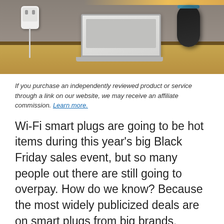[Figure (photo): A wooden desk with a white Wi-Fi smart plug in an outlet on the left, a laptop in the center, and a black Amazon Echo speaker on the right, with a warm LED light strip at the top right.]
If you purchase an independently reviewed product or service through a link on our website, we may receive an affiliate commission. Learn more.
Wi-Fi smart plugs are going to be hot items during this year’s big Black Friday sales event, but so many people out there are still going to overpay. How do we know? Because the most widely publicized deals are on smart plugs from big brands, which are so overpriced that they’re still too expensive even when they’re on sale. If you want the same great functionality without getting ripped off, check out Amazon’s current